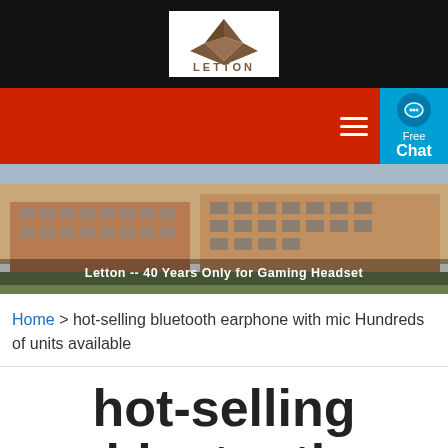[Figure (logo): Letton brand logo with diamond/mountain shape mark above the text LETTON, in brown/dark red color, on white background]
[Figure (photo): Aerial/exterior view of a large brick industrial or office building complex with the text 'Letton -- 40 Years Only for Gaming Headset' overlaid at the bottom]
Home > hot-selling bluetooth earphone with mic Hundreds of units available
hot-selling bluetooth earphone with mic